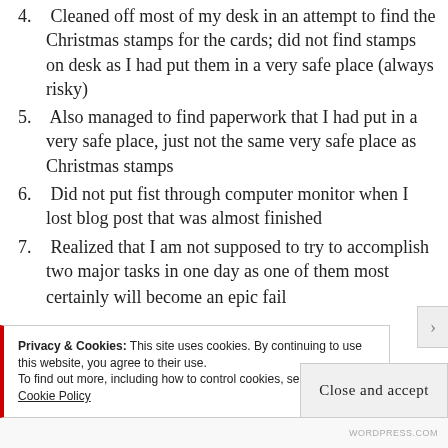4. Cleaned off most of my desk in an attempt to find the Christmas stamps for the cards; did not find stamps on desk as I had put them in a very safe place (always risky)
5. Also managed to find paperwork that I had put in a very safe place, just not the same very safe place as Christmas stamps
6. Did not put fist through computer monitor when I lost blog post that was almost finished
7. Realized that I am not supposed to try to accomplish two major tasks in one day as one of them most certainly will become an epic fail
Privacy & Cookies: This site uses cookies. By continuing to use this website, you agree to their use.
To find out more, including how to control cookies, see here: Cookie Policy
Close and accept